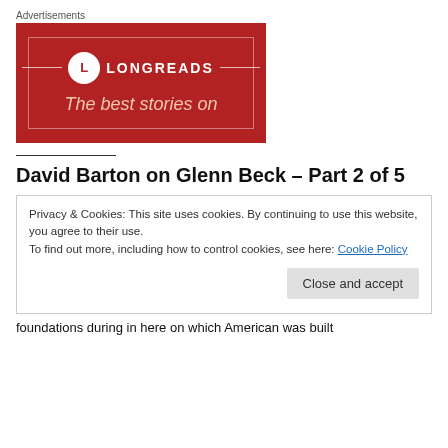Advertisements
[Figure (logo): Longreads advertisement banner with red background, circular L logo, site name LONGREADS, decorative border rectangle, and tagline 'The best stories on']
David Barton on Glenn Beck – Part 2 of 5
Privacy & Cookies: This site uses cookies. By continuing to use this website, you agree to their use.
To find out more, including how to control cookies, see here: Cookie Policy
Close and accept
foundations during in here on which American was built